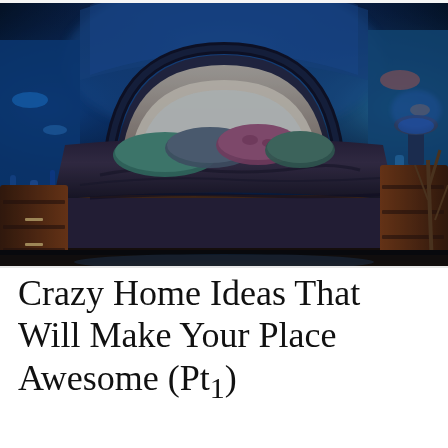[Figure (photo): A luxurious bedroom with a large bed featuring an arched upholstered headboard surrounded by illuminated aquarium fish tanks glowing in blue light. The bed has dark brown/charcoal bedding and multiple colorful pillows. Wooden nightstands flank the bed. The room is lit in deep blue tones from the aquariums.]
Crazy Home Ideas That Will Make Your Place Awesome (Pt1)